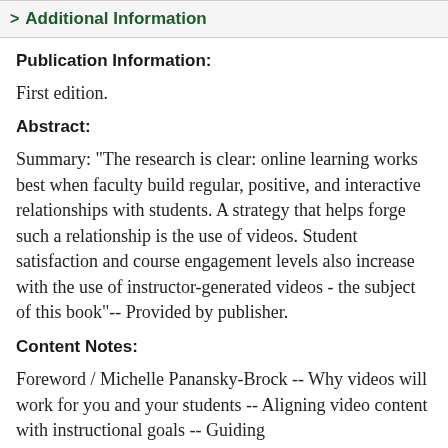> Additional Information
Publication Information:
First edition.
Abstract:
Summary: "The research is clear: online learning works best when faculty build regular, positive, and interactive relationships with students. A strategy that helps forge such a relationship is the use of videos. Student satisfaction and course engagement levels also increase with the use of instructor-generated videos - the subject of this book"-- Provided by publisher.
Content Notes:
Foreword / Michelle Panansky-Brock -- Why videos will work for you and your students -- Aligning video content with instructional goals -- Guiding